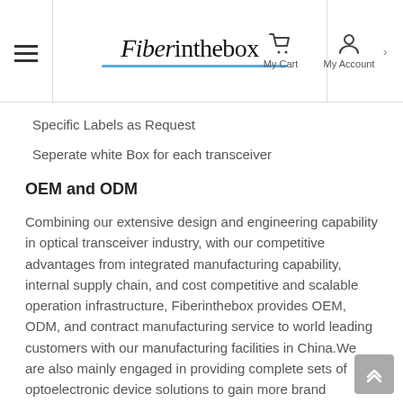Fiberinthebox — My Cart | My Account
Specific Labels as Request
Seperate white Box for each transceiver
OEM and ODM
Combining our extensive design and engineering capability in optical transceiver industry, with our competitive advantages from integrated manufacturing capability, internal supply chain, and cost competitive and scalable operation infrastructure, Fiberinthebox provides OEM, ODM, and contract manufacturing service to world leading customers with our manufacturing facilities in China.We are also mainly engaged in providing complete sets of optoelectronic device solutions to gain more brand extensions and influence for Fiberinthebox in the world.